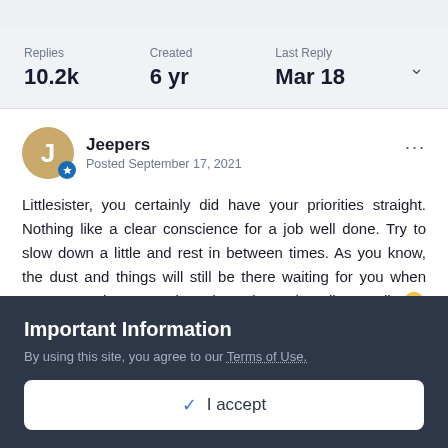Replies 10.2k | Created 6 yr | Last Reply Mar 18
Jeepers
Posted September 17, 2021
Littlesister, you certainly did have your priorities straight. Nothing like a clear conscience for a job well done. Try to slow down a little and rest in between times. As you know, the dust and things will still be there waiting for you when you are ready. Don't ask me how I know that all too well.
Important Information
By using this site, you agree to our Terms of Use.
✓ I accept